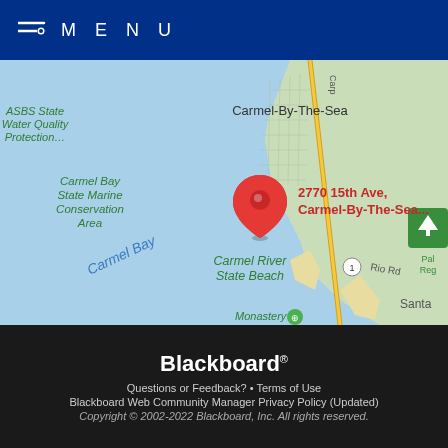MENU
[Figure (map): Google Maps view of Carmel-By-The-Sea area showing a red location pin at 2770 15th Ave, Carmel-By-The-Sea. Visible labels include ASBS State Water Quality Protection..., Carmel Bay State Marine Conservation Area, Carmel Bay, Carmel-By-The-Sea, Carmel River State Beach, Rio Rd, Monastery, and Santa (truncated). A green park icon labeled Pal... Reg... is partially visible on the right.]
Blackboard®
Questions or Feedback? • Terms of Use
Blackboard Web Community Manager Privacy Policy (Updated)
Copyright © 2002-2022 Blackboard, Inc. All rights reserved.